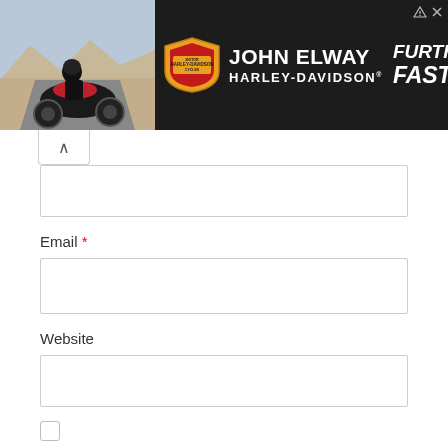[Figure (screenshot): John Elway Harley-Davidson advertisement banner with motorcycle image, Harley-Davidson shield logo, dealership name, and 'Further. Faster.' tagline on dark background]
Email *
Website
Save my name, email, and website in this browser for the next time I comment.
Post Comment